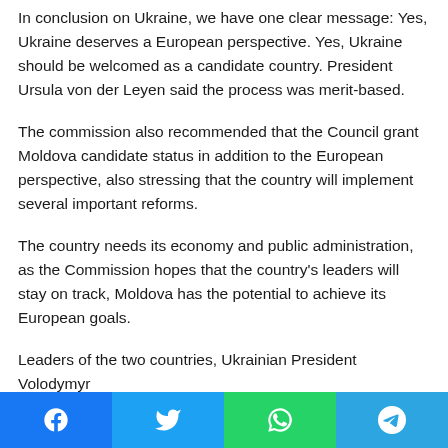In conclusion on Ukraine, we have one clear message: Yes, Ukraine deserves a European perspective. Yes, Ukraine should be welcomed as a candidate country. President Ursula von der Leyen said the process was merit-based.
The commission also recommended that the Council grant Moldova candidate status in addition to the European perspective, also stressing that the country will implement several important reforms.
The country needs its economy and public administration, as the Commission hopes that the country's leaders will stay on track, Moldova has the potential to achieve its European goals.
Leaders of the two countries, Ukrainian President Volodymyr